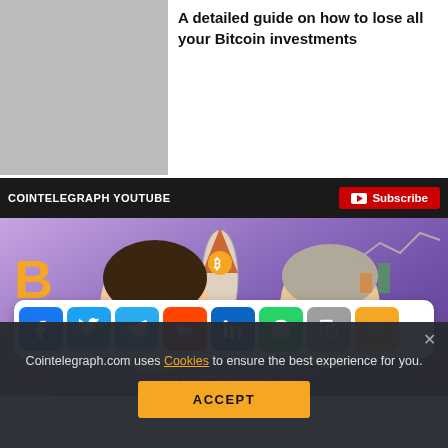A detailed guide on how to lose all your Bitcoin investments
[Figure (screenshot): Cointelegraph YouTube widget with black header bar showing 'COINTELEGRAPH YOUTUBE' text and red Subscribe button]
[Figure (illustration): Crypto Stories animated illustration showing two cartoon characters (one young man and one older man) with Bitcoin rocket, Bitcoin logo, financial charts in purple/blue background. Alex Tabscott's name visible in yellow italic text at bottom.]
[Figure (infographic): Social share bar overlay with buttons: Facebook (blue), Twitter (blue), Telegram (light blue), Reddit (orange-red), LinkedIn (dark blue), WhatsApp (green), Copy (gray), Scroll-up (yellow/orange)]
Cointelegraph.com uses Cookies to ensure the best experience for you.
ACCEPT